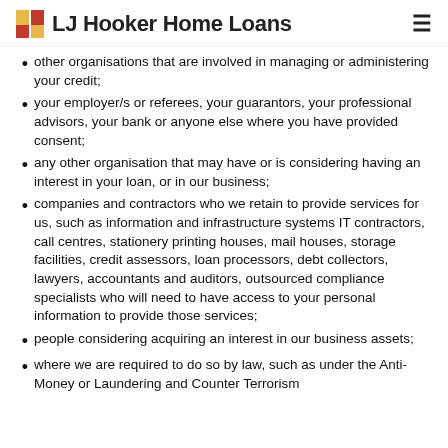LJ Hooker Home Loans
other organisations that are involved in managing or administering your credit;
your employer/s or referees, your guarantors, your professional advisors, your bank or anyone else where you have provided consent;
any other organisation that may have or is considering having an interest in your loan, or in our business;
companies and contractors who we retain to provide services for us, such as information and infrastructure systems IT contractors, call centres, stationery printing houses, mail houses, storage facilities, credit assessors, loan processors, debt collectors, lawyers, accountants and auditors, outsourced compliance specialists who will need to have access to your personal information to provide those services;
people considering acquiring an interest in our business assets;
where we are required to do so by law, such as under the Anti-Money or Laundering and Counter Terrorism